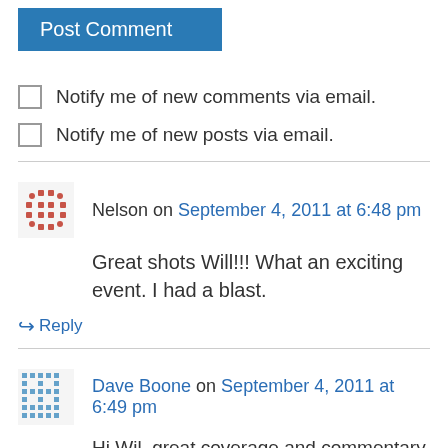[Figure (other): Blue 'Post Comment' button]
Notify me of new comments via email.
Notify me of new posts via email.
Nelson on September 4, 2011 at 6:48 pm
Great shots Will!!! What an exciting event. I had a blast.
Reply
Dave Boone on September 4, 2011 at 6:49 pm
Hi Wil, great coverage and commentary of the day. Looks like Jeff and I are the only non-